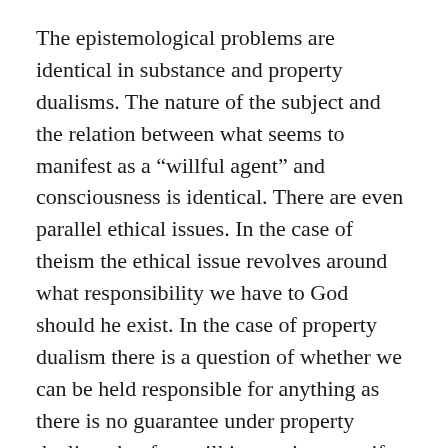The epistemological problems are identical in substance and property dualisms. The nature of the subject and the relation between what seems to manifest as a “willful agent” and consciousness is identical. There are even parallel ethical issues. In the case of theism the ethical issue revolves around what responsibility we have to God should he exist. In the case of property dualism there is a question of whether we can be held responsible for anything as there is no guarantee under property dualism that free will is genuine even if consciousness is!
So the theistic alternative posits a “magical being” while the materialist alternative posits either “magical properties of the physical” or special relations between physical particulars that have a magical (non-material) effect. Neither explains…